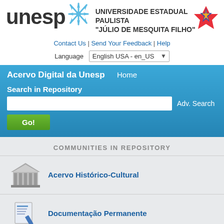[Figure (logo): UNESP university logo with snowflake icon and university name 'UNIVERSIDADE ESTADUAL PAULISTA JÚLIO DE MESQUITA FILHO' with a colorful star/flame icon on the right]
Contact Us | Send Your Feedback | Help
Language  English USA - en_US
Acervo Digital da Unesp   Home
Search in Repository
Adv. Search
Go!
COMMUNITIES IN REPOSITORY
Acervo Histórico-Cultural
Documentação Permanente